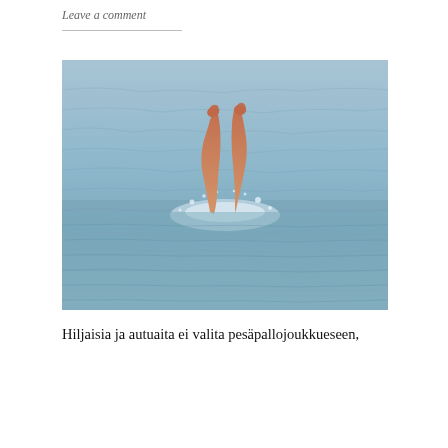Leave a comment
[Figure (photo): Person's legs sticking up out of open water (lake or sea), with water splashing around them. The water surface is rippled and blue-grey.]
Hiljaisia ja autuaita ei valita pesäpallojoukkueseen,